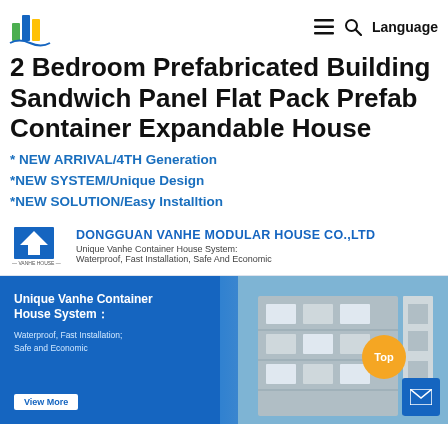2 Bedroom Prefabricated Building Sandwich Panel Flat Pack Prefab Container Expandable House
2 Bedroom Prefabricated Building Sandwich Panel Flat Pack Prefab Container Expandable House
* NEW ARRIVAL/4TH Generation
*NEW SYSTEM/Unique Design
*NEW SOLUTION/Easy Installtion
[Figure (screenshot): Dongguan Vanhe Modular House Co., Ltd company banner with logo and tagline: Unique Vanhe Container House System: Waterproof, Fast Installation, Safe And Economic. Below is a promotional image showing a multi-story modular container house building with blue sky, with text 'Unique Vanhe Container House System: Waterproof, Fast Installation; Safe and Economic', a View More button, a Top button, and a mail icon.]